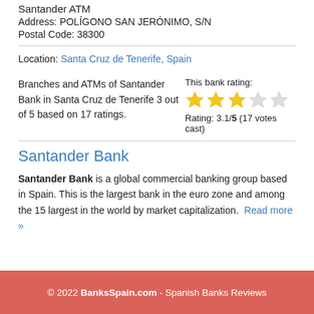Santander ATM
Address: POLÍGONO SAN JERÓNIMO, S/N
Postal Code: 38300
Location: Santa Cruz de Tenerife, Spain
Branches and ATMs of Santander Bank in Santa Cruz de Tenerife 3 out of 5 based on 17 ratings. This bank rating: Rating: 3.1/5 (17 votes cast)
Santander Bank
Santander Bank is a global commercial banking group based in Spain. This is the largest bank in the euro zone and among the 15 largest in the world by market capitalization. Read more »
© 2022 BanksSpain.com - Spanish Banks Reviews